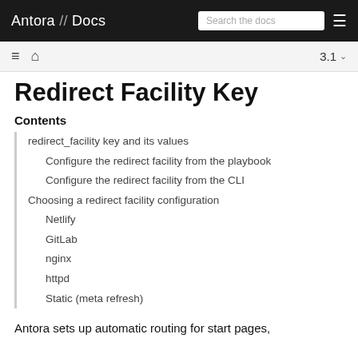Antora // Docs
Redirect Facility Key
Contents
redirect_facility key and its values
Configure the redirect facility from the playbook
Configure the redirect facility from the CLI
Choosing a redirect facility configuration
Netlify
GitLab
nginx
httpd
Static (meta refresh)
Antora sets up automatic routing for start pages,